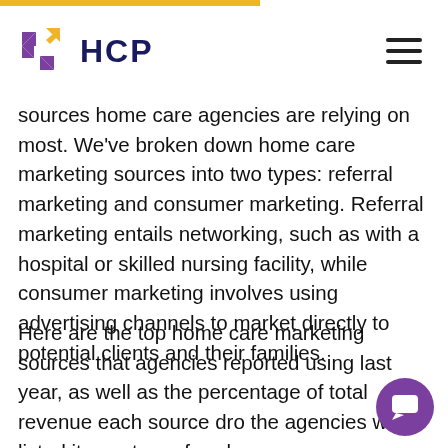HCP
sources home care agencies are relying on most. We've broken down home care marketing sources into two types: referral marketing and consumer marketing. Referral marketing entails networking, such as with a hospital or skilled nursing facility, while consumer marketing involves using advertising channels to market directly to potential clients and their families.
Here are the top home care marketing sources that agencies reported using last year, as well as the percentage of total revenue each source dro the agencies who listed it as a top referral so